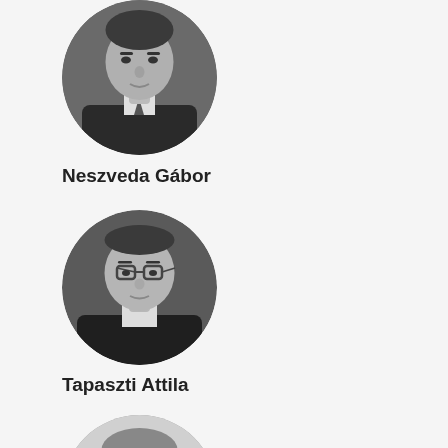[Figure (photo): Black and white circular portrait photo of Neszveda Gábor, a man in a suit and tie]
Neszveda Gábor
[Figure (photo): Black and white circular portrait photo of Tapaszti Attila, a man wearing glasses]
Tapaszti Attila
[Figure (photo): Black and white circular portrait photo of Világi Balázs, a man wearing glasses]
Világi Balázs
[Figure (photo): Black and white circular portrait photo of a fourth person, partially visible at bottom]